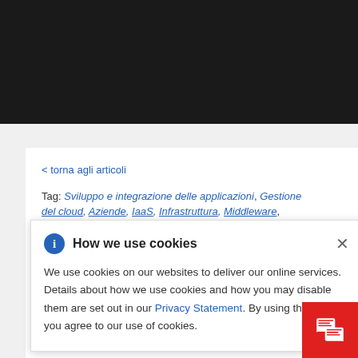< torna agli articoli
Tag: Sviluppo e integrazione delle applicazioni, Gestione del cloud, Aziende, IaaS, Infrastruttura, Middleware, ...settore ...ni,
...Hat ...weigh ...ct to se ...e ...on ma... topics, including:
How we use cookies

We use cookies on our websites to deliver our online services. Details about how we use cookies and how you may disable them are set out in our Privacy Statement. By using this website you agree to our use of cookies.